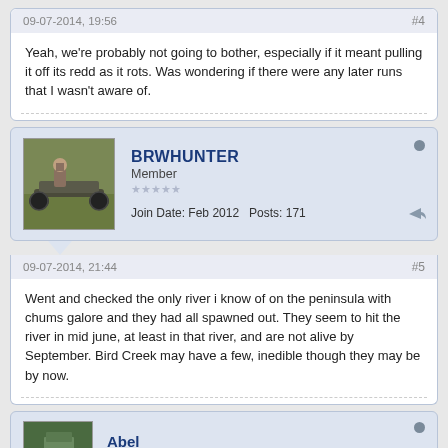09-07-2014, 19:56
#4
Yeah, we're probably not going to bother, especially if it meant pulling it off its redd as it rots. Was wondering if there were any later runs that I wasn't aware of.
BRWHUNTER
Member
Join Date: Feb 2012   Posts: 171
09-07-2014, 21:44
#5
Went and checked the only river i know of on the peninsula with chums galore and they had all spawned out. They seem to hit the river in mid june, at least in that river, and are not alive by September. Bird Creek may have a few, inedible though they may be by now.
Abel
Charterboat Operator